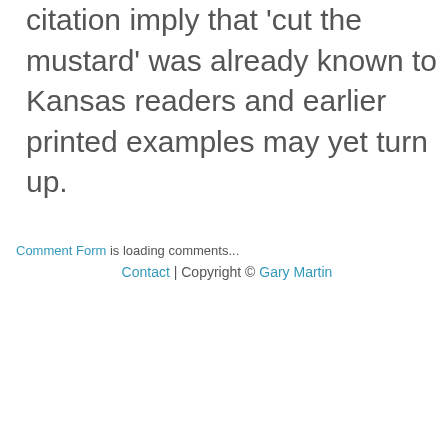citation imply that 'cut the mustard' was already known to Kansas readers and earlier printed examples may yet turn up.
Comment Form is loading comments...
Contact | Copyright © Gary Martin